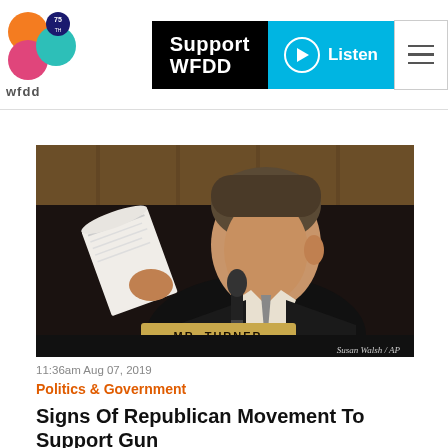wfdd — Support WFDD | Listen
by Bill Chappell
[Figure (photo): A man in a dark suit, identified by a nameplate as MR. TURNER, sits at a hearing table holding papers. Photo credit: Susan Walsh / AP]
11:36am Aug 07, 2019
Politics & Government
Signs Of Republican Movement To Support Gun